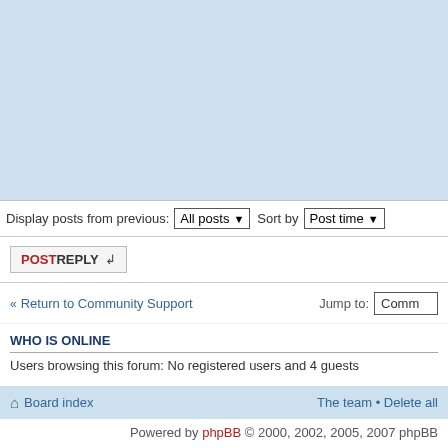[Figure (screenshot): Light blue forum post content area (cropped, upper portion)]
Display posts from previous: All posts ▾  Sort by  Post time ▾
POSTREPLY ↵
« Return to Community Support    Jump to:  Comm
WHO IS ONLINE
Users browsing this forum: No registered users and 4 guests
Board index    The team • Delete all
Powered by phpBB © 2000, 2002, 2005, 2007 phpBB